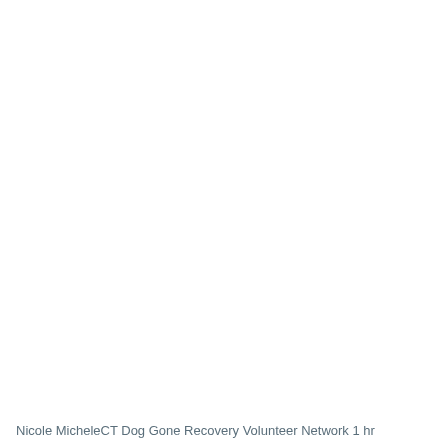Nicole MicheleCT Dog Gone Recovery Volunteer Network 1 hr